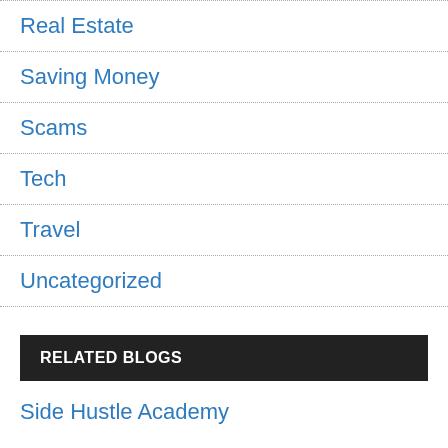Real Estate
Saving Money
Scams
Tech
Travel
Uncategorized
RELATED BLOGS
Side Hustle Academy